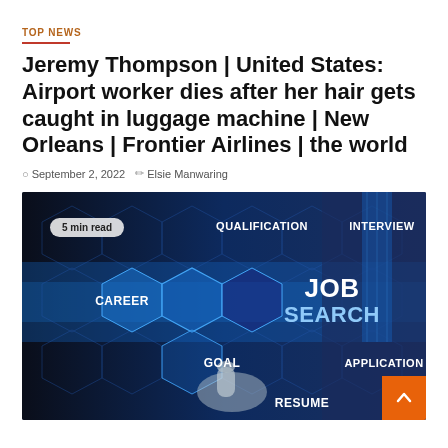TOP NEWS
Jeremy Thompson | United States: Airport worker dies after her hair gets caught in luggage machine | New Orleans | Frontier Airlines | the world
September 2, 2022   Elsie Manwaring
[Figure (photo): Job search concept image showing a person touching a digital hexagonal interface with words: JOB SEARCH, QUALIFICATION, INTERVIEW, CAREER, GOAL, APPLICATION, RESUME. A badge reads '5 min read'. An orange back-to-top button is in the bottom right corner.]